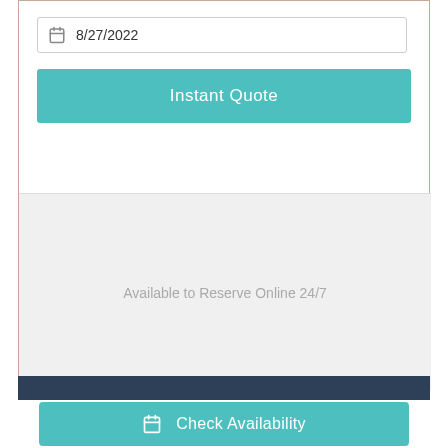8/27/2022
Instant Quote
Available to Reserve Online 24/7
Check Availability